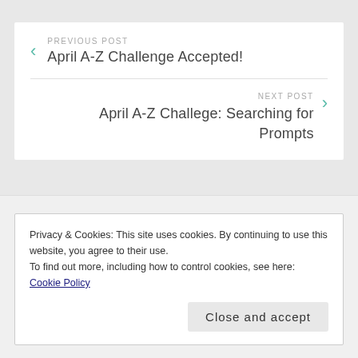PREVIOUS POST
April A-Z Challenge Accepted!
NEXT POST
April A-Z Challege: Searching for Prompts
Privacy & Cookies: This site uses cookies. By continuing to use this website, you agree to their use.
To find out more, including how to control cookies, see here: Cookie Policy
Close and accept